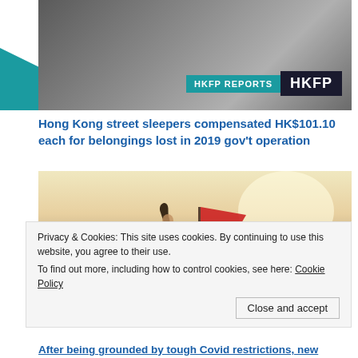[Figure (photo): Person holding a white cup or mask to their face, seated; HKFP Reports badge overlay with teal accent]
Hong Kong street sleepers compensated HK$101.10 each for belongings lost in 2019 gov't operation
[Figure (photo): Person on a camel at sunset holding a large red flag, silhouetted against a bright sky]
Privacy & Cookies: This site uses cookies. By continuing to use this website, you agree to their use.
To find out more, including how to control cookies, see here: Cookie Policy
Close and accept
After being grounded by tough Covid restrictions, new